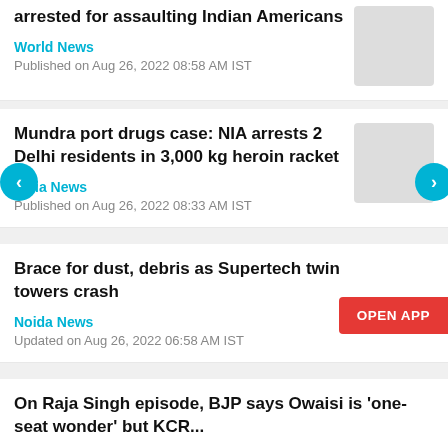arrested for assaulting Indian Americans
World News
Published on Aug 26, 2022 08:58 AM IST
Mundra port drugs case: NIA arrests 2 Delhi residents in 3,000 kg heroin racket
India News
Published on Aug 26, 2022 08:33 AM IST
Brace for dust, debris as Supertech twin towers crash
Noida News
Updated on Aug 26, 2022 06:58 AM IST
On Raja Singh episode, BJP says Owaisi is 'one-seat wonder' but KCR...